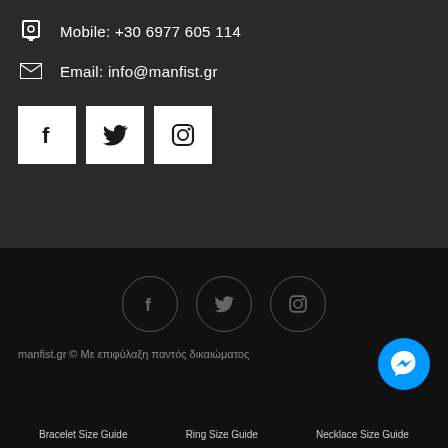Mobile: +30 6977 605 114
Email: info@manfist.gr
[Figure (other): Three white square social media icon buttons: Facebook (f), Twitter (bird), Instagram (camera)]
[Figure (other): Three circular outlined social media icons: Facebook (f), Twitter (bird), Instagram (camera)]
manfist.gr © Με επιφύλαξη παντός δικαιώματος
[Figure (other): Blue circular Messenger chat button in bottom right]
Bracelet Size Guide   Ring Size Guide   Necklace Size Guide
Watch size guide   Shipping methods   Payment methods